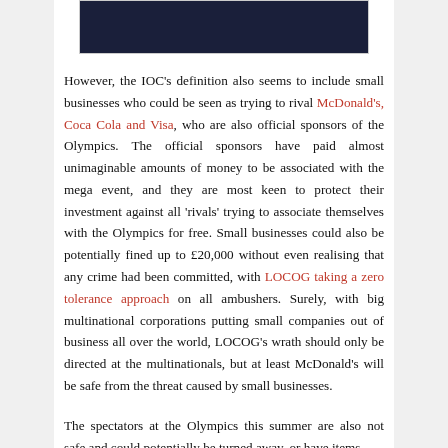[Figure (photo): Dark/navy image strip at top of page, partial photo visible]
However, the IOC’s definition also seems to include small businesses who could be seen as trying to rival McDonald’s, Coca Cola and Visa, who are also official sponsors of the Olympics. The official sponsors have paid almost unimaginable amounts of money to be associated with the mega event, and they are most keen to protect their investment against all ‘rivals’ trying to associate themselves with the Olympics for free. Small businesses could also be potentially fined up to £20,000 without even realising that any crime had been committed, with LOCOG taking a zero tolerance approach on all ambushers. Surely, with big multinational corporations putting small companies out of business all over the world, LOCOG’s wrath should only be directed at the multinationals, but at least McDonald’s will be safe from the threat caused by small businesses.
The spectators at the Olympics this summer are also not safe and could potentially be turned away, or have items